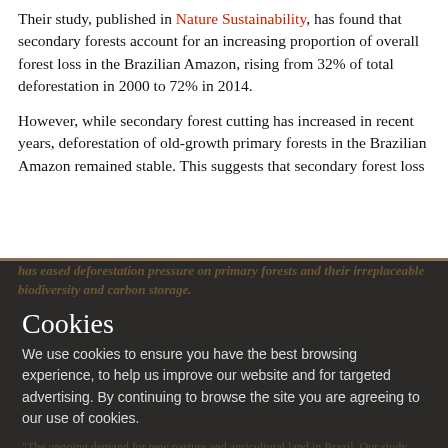Their study, published in Nature Sustainability, has found that secondary forests account for an increasing proportion of overall forest loss in the Brazilian Amazon, rising from 32% of total deforestation in 2000 to 72% in 2014.
However, while secondary forest cutting has increased in recent years, deforestation of old-growth primary forests in the Brazilian Amazon remained stable. This suggests that secondary forest loss has eased deforestation pressure on primary forests and their irreplaceable biodiversity and carbon storage.
Study author Yicheng Wang, from the School of Geography said: "There are 28 million farms of younger than 25 years land in Brazil. Over 40,000 sq km of this demand has already been met by secondary forests since 2004, with this avoiding deforestation of an approximately equivalent area of primary forests."
"The ongoing demand for new pasture and agricultural land in Brazil. Our study shows that this demand has increasingly been met by secondary forests, providing an alternative to continued deforestation of primary forests."
Cookies
We use cookies to ensure you have the best browsing experience, to help us improve our website and for targeted advertising. By continuing to browse the site you are agreeing to our use of cookies.
Accept
Settings
Find out more